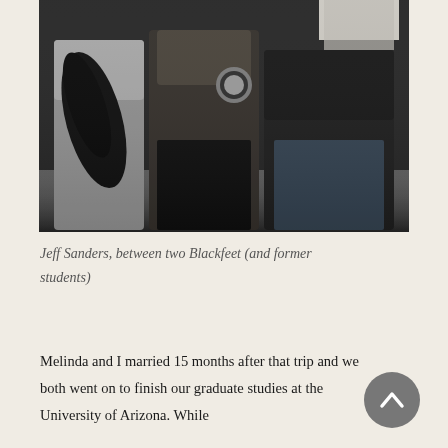[Figure (photo): Black and white photograph of three people standing together outdoors. The person in the center (Jeff Sanders) is flanked by two Blackfeet individuals (former students). One person on the left holds what appears to be a large feather fan. The center person wears a decorated jacket with a medallion. The person on the right wears a knit sweater.]
Jeff Sanders, between two Blackfeet (and former students)
Melinda and I married 15 months after that trip and we both went on to finish our graduate studies at the University of Arizona. While